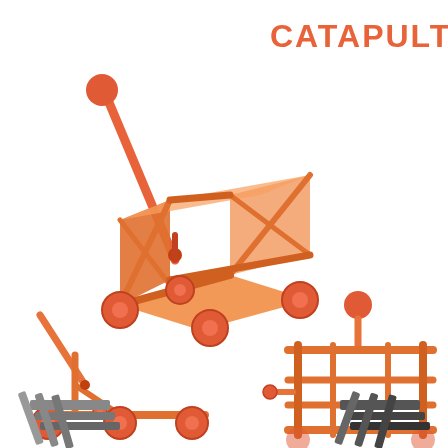CATAPULT
[Figure (illustration): Three orange flat-design catapult illustrations: isometric view (top-left), side view (bottom-left), and front view (bottom-right). Two partially visible grey/dark objects at the bottom edge.]